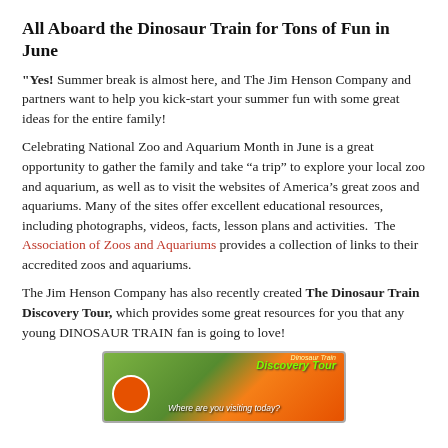All Aboard the Dinosaur Train for Tons of Fun in June
"Yes!  Summer break is almost here, and The Jim Henson Company and partners want to help you kick-start your summer fun with some great ideas for the entire family!
Celebrating National Zoo and Aquarium Month in June is a great opportunity to gather the family and take “a trip” to explore your local zoo and aquarium, as well as to visit the websites of America’s great zoos and aquariums. Many of the sites offer excellent educational resources, including photographs, videos, facts, lesson plans and activities.  The Association of Zoos and Aquariums provides a collection of links to their accredited zoos and aquariums.
The Jim Henson Company has also recently created The Dinosaur Train Discovery Tour, which provides some great resources for you that any young DINOSAUR TRAIN fan is going to love!
[Figure (photo): Dinosaur Train Discovery Tour promotional banner image with green foliage background and orange branding, showing 'Discovery Tour' text and 'Where are you visiting today?' tagline]